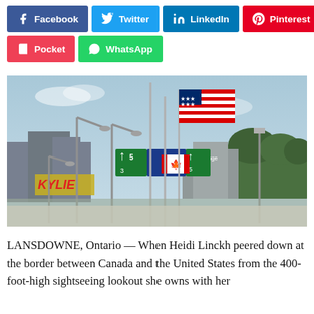[Figure (other): Social media share buttons row 1: Facebook (blue), Twitter (light blue), LinkedIn (dark blue), Pinterest (red)]
[Figure (other): Social media share buttons row 2: Pocket (red), WhatsApp (green)]
[Figure (photo): Outdoor photograph showing the US-Canada border area at Lansdowne, Ontario. Tall flagpoles with American flag and Canadian flag visible, green highway directional signs, street lamps, buildings including one with 'KYLIE' signage, and trees in the background under a partly cloudy sky.]
LANSDOWNE, Ontario — When Heidi Linckh peered down at the border between Canada and the United States from the 400-foot-high sightseeing lookout she owns with her